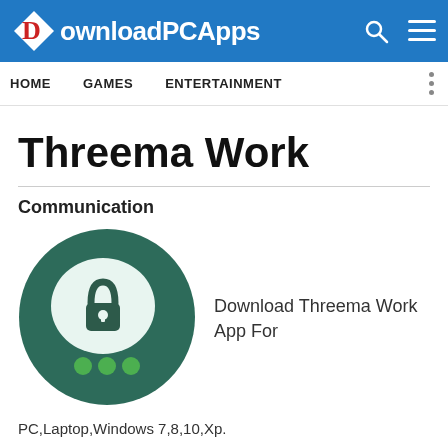DownloadPCApps
Threema Work
Communication
[Figure (logo): Threema Work app icon: dark green circle with a speech bubble containing a padlock, and three green dots at the bottom]
Download Threema Work App For PC,Laptop,Windows 7,8,10,Xp.